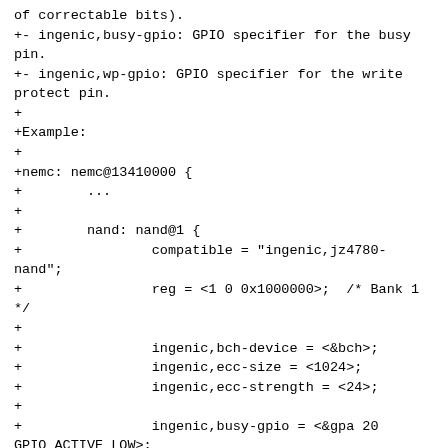of correctable bits).
+- ingenic,busy-gpio: GPIO specifier for the busy pin.
+- ingenic,wp-gpio: GPIO specifier for the write protect pin.
+
+Example:
+
+nemc: nemc@13410000 {
+        ...
+
+        nand: nand@1 {
+                compatible = "ingenic,jz4780-nand";
+                reg = <1 0 0x1000000>;  /* Bank 1 */
+
+                ingenic,bch-device = <&bch>;
+                ingenic,ecc-size = <1024>;
+                ingenic,ecc-strength = <24>;
+
+                ingenic,busy-gpio = <&gpa 20 GPIO_ACTIVE_LOW>;
+                ingenic,wp-gpio = <&gpf 22 GPIO_ACTIVE_LOW>;
+        };
+};
+
+The BCH controller is a separate SoC component used for error correction on